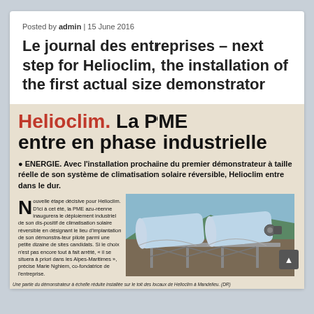Posted by admin | 15 June 2016
Le journal des entreprises – next step for Helioclim, the installation of the first actual size demonstrator
[Figure (screenshot): Newspaper article with heading 'Helioclim. La PME entre en phase industrielle', subtitle about solar air conditioning system, a column of French text with dropcap N, and a photo of solar panel collectors on a rooftop.]
Une partie du démonstrateur à échelle réduite installée sur le toit des locaux de Helioclim à Mandelieu. (DR)